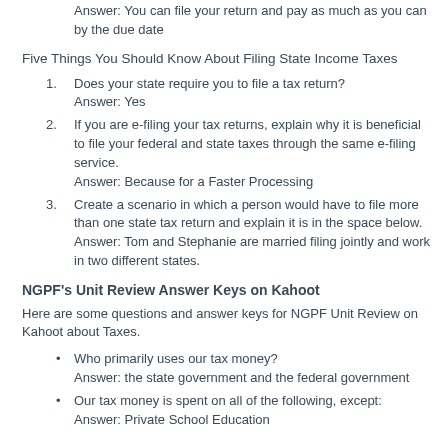Answer: You can file your return and pay as much as you can by the due date
Five Things You Should Know About Filing State Income Taxes
Does your state require you to file a tax return?
Answer: Yes
If you are e-filing your tax returns, explain why it is beneficial to file your federal and state taxes through the same e-filing service.
Answer: Because for a Faster Processing
Create a scenario in which a person would have to file more than one state tax return and explain it is in the space below.
Answer: Tom and Stephanie are married filing jointly and work in two different states.
NGPF's Unit Review Answer Keys on Kahoot
Here are some questions and answer keys for NGPF Unit Review on Kahoot about Taxes.
Who primarily uses our tax money?
Answer: the state government and the federal government
Our tax money is spent on all of the following, except:
Answer: Private School Education